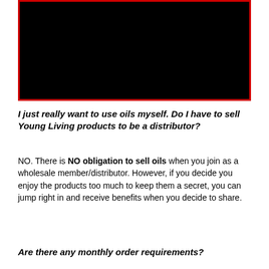[Figure (photo): Black rectangle with red border, likely a video thumbnail or image placeholder]
I just really want to use oils myself. Do I have to sell Young Living products to be a distributor?
NO. There is NO obligation to sell oils when you join as a wholesale member/distributor. However, if you decide you enjoy the products too much to keep them a secret, you can jump right in and receive benefits when you decide to share.
Are there any monthly order requirements?